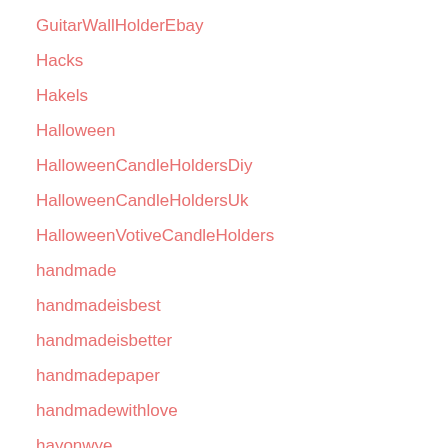GuitarWallHolderEbay
Hacks
Hakels
Halloween
HalloweenCandleHoldersDiy
HalloweenCandleHoldersUk
HalloweenVotiveCandleHolders
handmade
handmadeisbest
handmadeisbetter
handmadepaper
handmadewithlove
hayonwye
Health
HealthCare